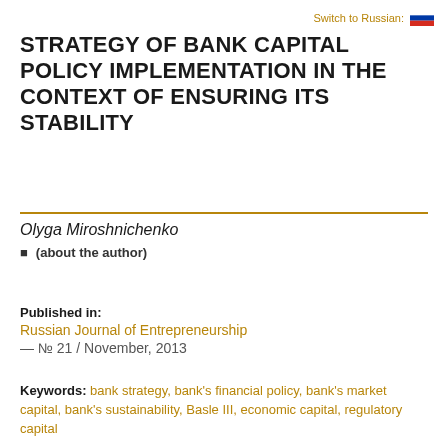Switch to Russian:
STRATEGY OF BANK CAPITAL POLICY IMPLEMENTATION IN THE CONTEXT OF ENSURING ITS STABILITY
Olyga Miroshnichenko
(about the author)
Published in:
Russian Journal of Entrepreneurship – № 21 / November, 2013
Keywords: bank strategy, bank's financial policy, bank's market capital, bank's sustainability, Basle III, economic capital, regulatory capital